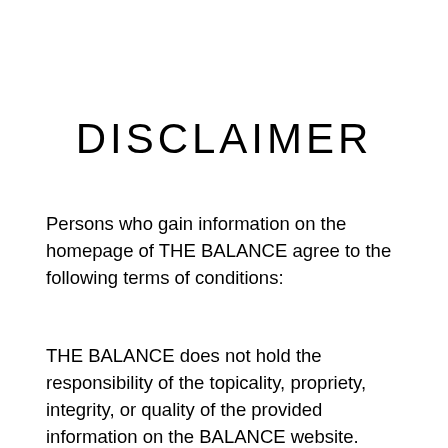DISCLAIMER
Persons who gain information on the homepage of THE BALANCE agree to the following terms of conditions:
THE BALANCE does not hold the responsibility of the topicality, propriety, integrity, or quality of the provided information on the BALANCE website. Containing recommendations are for